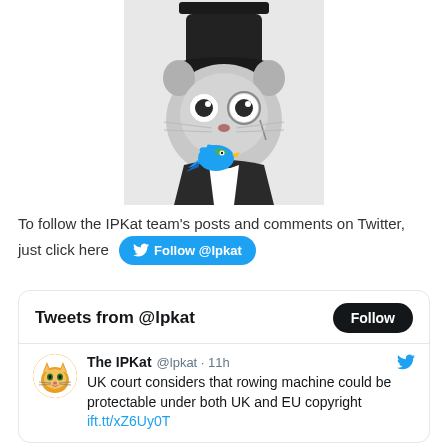[Figure (illustration): Black and white illustration of a cat wearing a top hat and monocle, dressed in a suit, holding a colorful Twitter bird logo in its mouth]
To follow the IPKat team's posts and comments on Twitter, just click here [Follow @Ipkat button]
[Figure (screenshot): Twitter widget showing 'Tweets from @lpkat' with a Follow button, and a tweet from The IPKat @lpkat 11h: UK court considers that rowing machine could be protectable under both UK and EU copyright ift.tt/xZ6Uy0T]